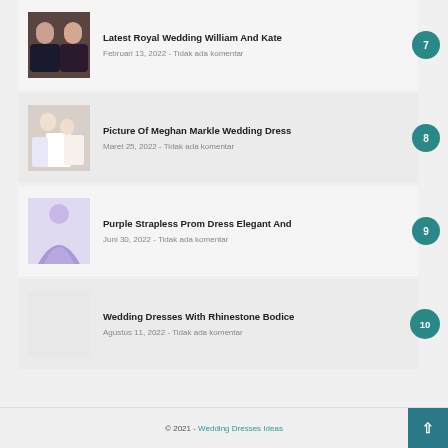Latest Royal Wedding William And Kate - Februari 13, 2022 - Tidak ada komentar
Picture Of Meghan Markle Wedding Dress - Maret 25, 2022 - Tidak ada komentar
Purple Strapless Prom Dress Elegant And - Juni 30, 2022 - Tidak ada komentar
Wedding Dresses With Rhinestone Bodice - Agustus 11, 2022 - Tidak ada komentar
© 2021 - Wedding Dresses Ideas